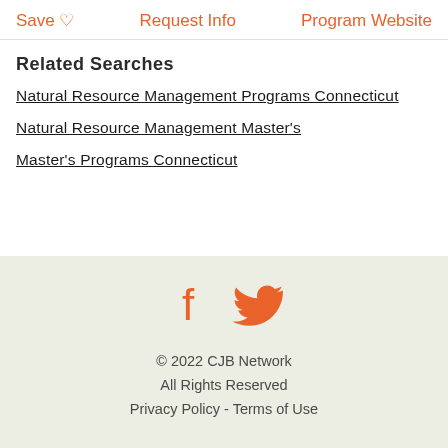Save ♡   Request Info   Program Website
Related Searches
Natural Resource Management Programs Connecticut
Natural Resource Management Master's
Master's Programs Connecticut
[Figure (other): Facebook and Twitter social media icons in orange]
© 2022 CJB Network
All Rights Reserved
Privacy Policy - Terms of Use